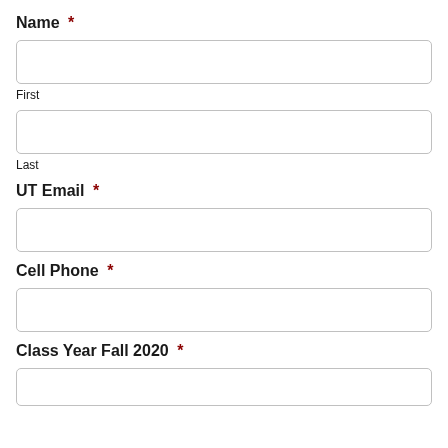Name *
First
Last
UT Email *
Cell Phone *
Class Year Fall 2020 *